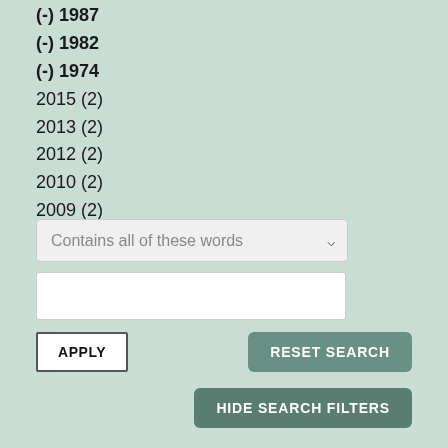(-) 1987
(-) 1982
(-) 1974
2015 (2)
2013 (2)
2012 (2)
2010 (2)
2009 (2)
2008 (1)
Contains all of these words (dropdown)
APPLY | RESET SEARCH | HIDE SEARCH FILTERS